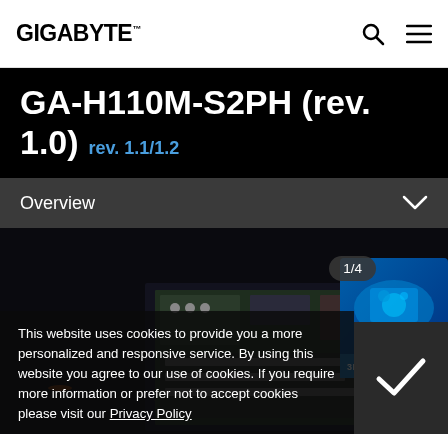GIGABYTE™
GA-H110M-S2PH (rev. 1.0) rev. 1.1/1.2
Overview
[Figure (screenshot): Motherboard product image carousel showing GA-H110M-S2PH board, with 1/4 pagination indicator and 3D INDUSTRY badge]
This website uses cookies to provide you a more personalized and responsive service. By using this website you agree to our use of cookies. If you require more information or prefer not to accept cookies please visit our Privacy Policy